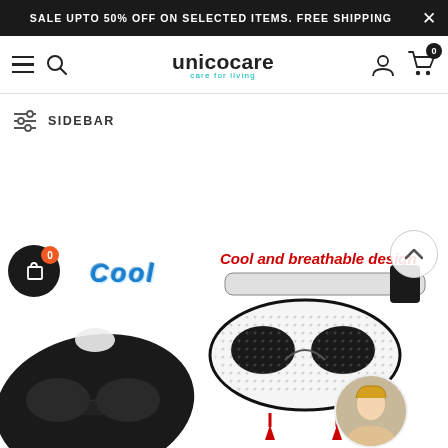SALE UPTO 50% OFF ON SELECTED ITEMS. FREE SHIPPING
[Figure (screenshot): Unicocare e-commerce website header with logo, hamburger menu, search icon, user icon, and cart icon with badge showing 0]
SIDEBAR
[Figure (photo): Product promotional image showing sleep eye masks with text 'Cool' in blue bubble letters and 'Cool and breathable design' in red italic text. Shows two sleep masks - one black contoured mask and one white breathable mesh mask. Red arrows point to features. A floating cart button with badge '0' is also visible.]